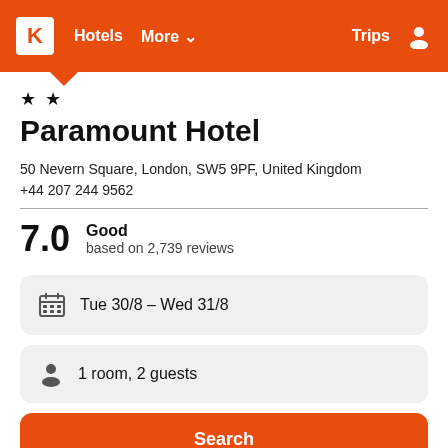K  Hotels  More ▾  Trips
★ ★
Paramount Hotel
50 Nevern Square, London, SW5 9PF, United Kingdom
+44 207 244 9562
7.0  Good  based on 2,739 reviews
Tue 30/8  –  Wed 31/8
1 room, 2 guests
Search